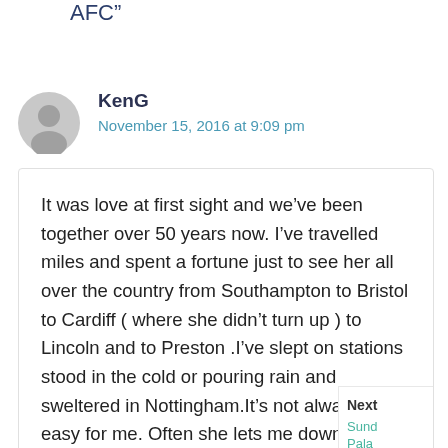AFC”
KenG
November 15, 2016 at 9:09 pm
It was love at first sight and we’ve been together over 50 years now. I’ve travelled miles and spent a fortune just to see her all over the country from Southampton to Bristol to Cardiff ( where she didn’t turn up ) to Lincoln and to Preston .I’ve slept on stations stood in the cold or pouring rain and sweltered in Nottingham.It’s not always been easy for me. Often she lets me down,she’s
Next
Sund
Pala